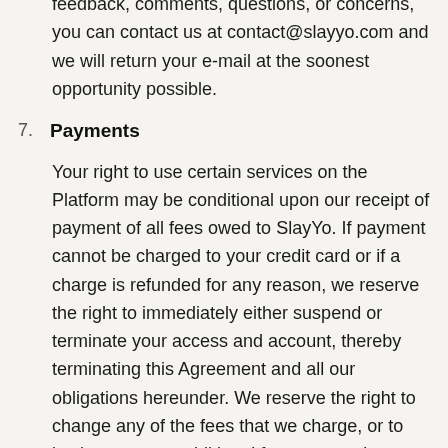feedback, comments, questions, or concerns, you can contact us at contact@slayyo.com and we will return your e-mail at the soonest opportunity possible.
7. Payments
Your right to use certain services on the Platform may be conditional upon our receipt of payment of all fees owed to SlayYo. If payment cannot be charged to your credit card or if a charge is refunded for any reason, we reserve the right to immediately either suspend or terminate your access and account, thereby terminating this Agreement and all our obligations hereunder. We reserve the right to change any of the fees that we charge, or to institute new or additional fees, at any time upon notice to you.
8. Guarantee and Warranty
Use of the Platform is at your sole risk. All